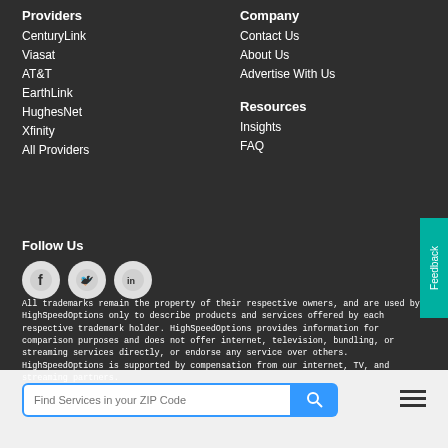Providers
CenturyLink
Viasat
AT&T
EarthLink
HughesNet
Xfinity
All Providers
Company
Contact Us
About Us
Advertise With Us
Resources
Insights
FAQ
Follow Us
[Figure (illustration): Social media icons: Facebook, Twitter, LinkedIn]
All trademarks remain the property of their respective owners, and are used by HighSpeedOptions only to describe products and services offered by each respective trademark holder. HighSpeedOptions provides information for comparison purposes and does not offer internet, television, bundling, or streaming services directly, or endorse any service over others. HighSpeedOptions is supported by compensation from our internet, TV, and streaming partners.